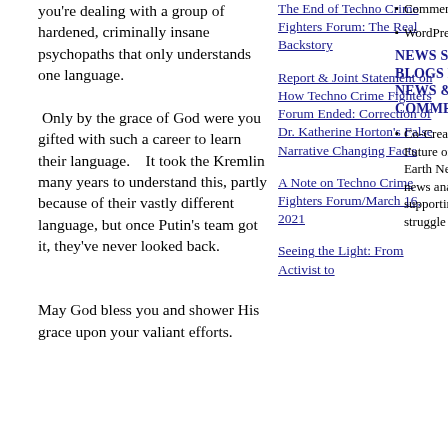you're dealing with a group of hardened, criminally insane psychopaths that only understands one language.  Only by the grace of God were you gifted with such a career to learn their language.   It took the Kremlin many years to understand this, partly because of their vastly different language, but once Putin's team got it, they've never looked back.

May God bless you and shower His grace upon your valiant efforts.
The End of Techno Crime Fighters Forum: The Real Backstory
Report & Joint Statement on How Techno Crime Fighters Forum Ended: Correction of Dr. Katherine Horton's False Narrative Changing Facts
A Note on Techno Crime Fighters Forum/March 16, 2021
Seeing the Light: From Activist to
Comments feed
WordPress
NEWS SITES & BLOGS FOR NEWS & COMMENT
Co-Creating Our Future on Planet Earth News, views, news analyses, supporting the struggle for truth